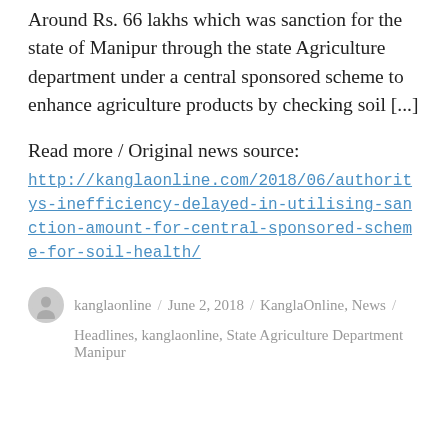Around Rs. 66 lakhs which was sanction for the state of Manipur through the state Agriculture department under a central sponsored scheme to enhance agriculture products by checking soil [...]
Read more / Original news source:
http://kanglaonline.com/2018/06/authoritys-inefficiency-delayed-in-utilising-sanction-amount-for-central-sponsored-scheme-for-soil-health/
kanglaonline / June 2, 2018 / KanglaOnline, News / Headlines, kanglaonline, State Agriculture Department Manipur